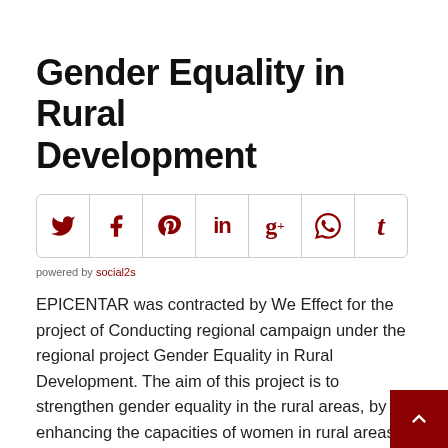Gender Equality in Rural Development
[Figure (other): Social sharing icon bar with icons for Twitter, Facebook, Pinterest, LinkedIn, Google+, WhatsApp, and Tumblr]
powered by social2s
EPICENTAR was contracted by We Effect for the project of Conducting regional campaign under the regional project Gender Equality in Rural Development. The aim of this project is to strengthen gender equality in the rural areas, by enhancing the capacities of women in rural areas to advocate for their rights which in the long run will enable them to enhance their position in the region. The project aims to influence legal and policy frameworks to support gender equality and empowerment of women and involving women from rural areas in sustainable